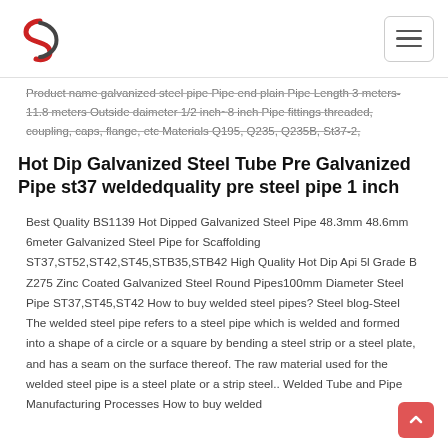Logo and navigation header
Product name galvanized steel pipe Pipe end plain Pipe Length 3 meters-11.8 meters Outside daimeter 1/2 inch~8 inch Pipe fittings threaded, coupling, caps, flange, etc Materials Q195, Q235, Q235B, St37-2,
Hot Dip Galvanized Steel Tube Pre Galvanized Pipe st37 weldedquality pre steel pipe 1 inch
Best Quality BS1139 Hot Dipped Galvanized Steel Pipe 48.3mm 48.6mm 6meter Galvanized Steel Pipe for Scaffolding ST37,ST52,ST42,ST45,STB35,STB42 High Quality Hot Dip Api 5l Grade B Z275 Zinc Coated Galvanized Steel Round Pipes100mm Diameter Steel Pipe ST37,ST45,ST42 How to buy welded steel pipes? Steel blog-Steel The welded steel pipe refers to a steel pipe which is welded and formed into a shape of a circle or a square by bending a steel strip or a steel plate, and has a seam on the surface thereof. The raw material used for the welded steel pipe is a steel plate or a strip steel.. Welded Tube and Pipe Manufacturing Processes How to buy welded